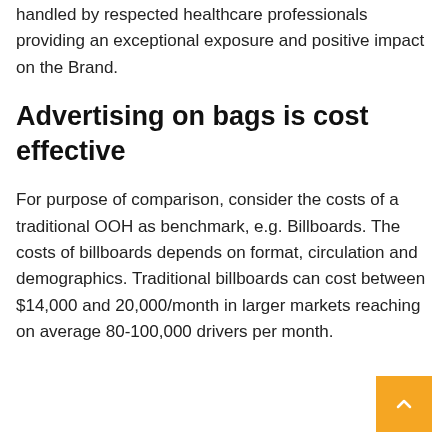handled by respected healthcare professionals providing an exceptional exposure and positive impact on the Brand.
Advertising on bags is cost effective
For purpose of comparison, consider the costs of a traditional OOH as benchmark, e.g. Billboards. The costs of billboards depends on format, circulation and demographics. Traditional billboards can cost between $14,000 and 20,000/month in larger markets reaching on average 80-100,000 drivers per month.